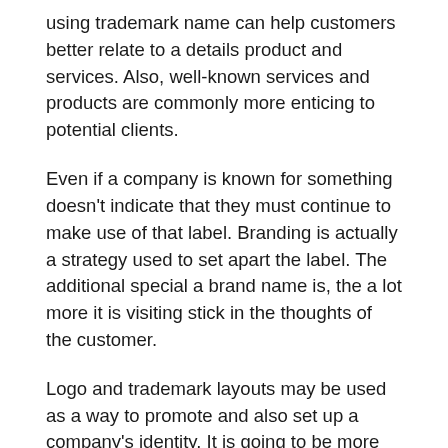using trademark name can help customers better relate to a details product and services. Also, well-known services and products are commonly more enticing to potential clients.
Even if a company is known for something doesn't indicate that they must continue to make use of that label. Branding is actually a strategy used to set apart the label. The additional special a brand name is, the a lot more it is visiting stick in the thoughts of the customer.
Logo and trademark layouts may be used as a way to promote and also set up a company's identity. It is going to be more challenging to distinguish the provider from the competition if a company logo or even hallmark style isn't one-of-a-kind good enough. Once the competition has generated their own company logo or hallmark, it will be actually extremely difficult to convince a customer that your provider